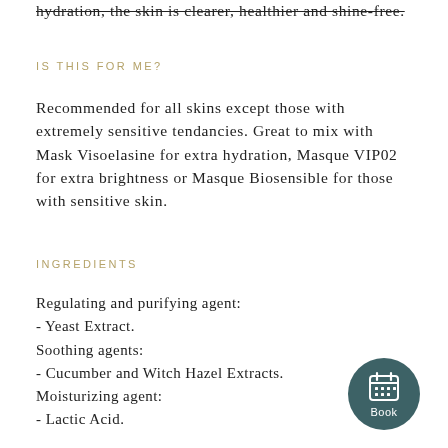hydration, the skin is clearer, healthier and shine-free.
IS THIS FOR ME?
Recommended for all skins except those with extremely sensitive tendancies. Great to mix with Mask Visoelasine for extra hydration, Masque VIP02 for extra brightness or Masque Biosensible for those with sensitive skin.
INGREDIENTS
Regulating and purifying agent:
- Yeast Extract.
Soothing agents:
- Cucumber and Witch Hazel Extracts.
Moisturizing agent:
- Lactic Acid.
[Figure (other): Circular dark teal booking button with calendar icon and 'Book' label]